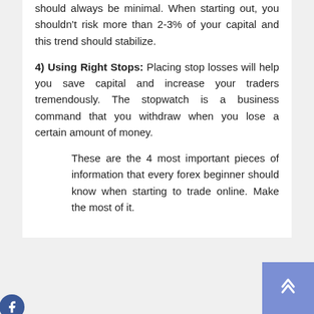should always be minimal. When starting out, you shouldn't risk more than 2-3% of your capital and this trend should stabilize.
4) Using Right Stops: Placing stop losses will help you save capital and increase your traders tremendously. The stopwatch is a business command that you withdraw when you lose a certain amount of money.
These are the 4 most important pieces of information that every forex beginner should know when starting to trade online. Make the most of it.